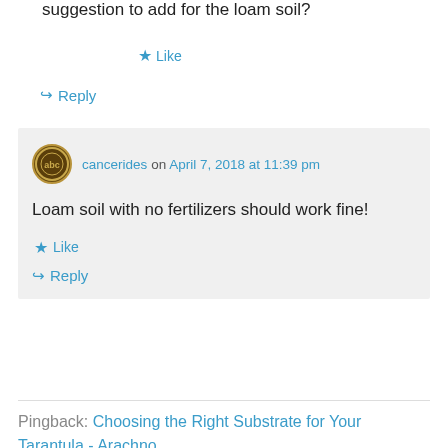suggestion to add for the loam soil?
★ Like
↪ Reply
cancerides on April 7, 2018 at 11:39 pm
Loam soil with no fertilizers should work fine!
★ Like
↪ Reply
Pingback: Choosing the Right Substrate for Your Tarantula - Arachno